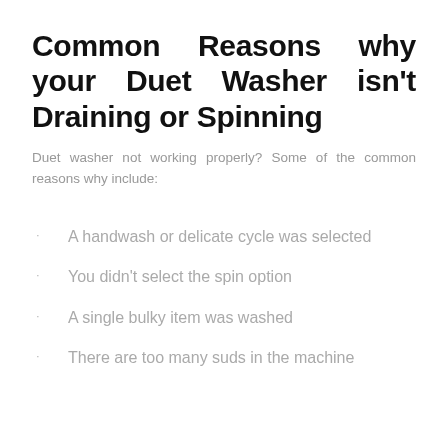Common Reasons why your Duet Washer isn't Draining or Spinning
Duet washer not working properly? Some of the common reasons why include:
A handwash or delicate cycle was selected
You didn't select the spin option
A single bulky item was washed
There are too many suds in the machine